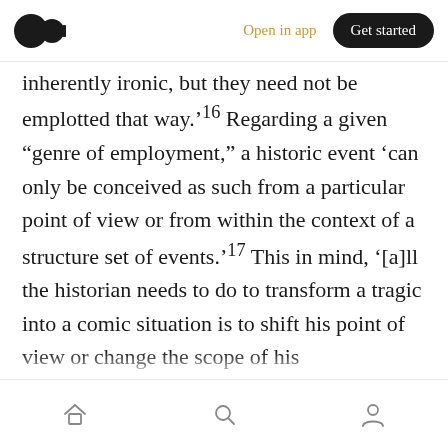Open in app | Get started
inherently ironic, but they need not be emplotted that way.’¹⁶ Regarding a given “genre of employment,” a historic event ‘can only be conceived as such from a particular point of view or from within the context of a structure set of events.’¹⁷ This in mind, ‘[a]ll the historian needs to do to transform a tragic into a comic situation is to shift his point of view or change the scope of his perceptions.’¹⁸ Take for example the idea that Hegel saw Napoleon as “the world spirit” — a famous and well-known story. Sounds grand and remarkable, yes? Do you envision Hegel looking up from the bottom of a hill at Napoleon on
Home | Search | Profile